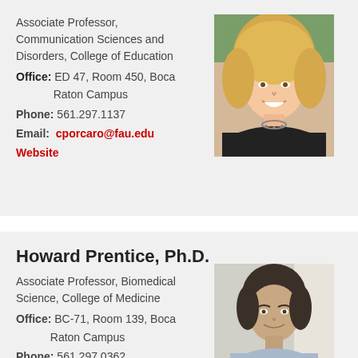Associate Professor, Communication Sciences and Disorders, College of Education
Office: ED 47, Room 450, Boca Raton Campus
Phone: 561.297.1137
Email: cporcaro@fau.edu
Website
[Figure (photo): Headshot of a smiling blonde woman in a black jacket with a necklace]
Howard Prentice, Ph.D.
Associate Professor, Biomedical Science, College of Medicine
Office: BC-71, Room 139, Boca Raton Campus
Phone: 561.297.0362
Email: hprentic@fau.edu
Website
[Figure (photo): Headshot of a middle-aged man with dark hair in a light blue shirt, smiling]